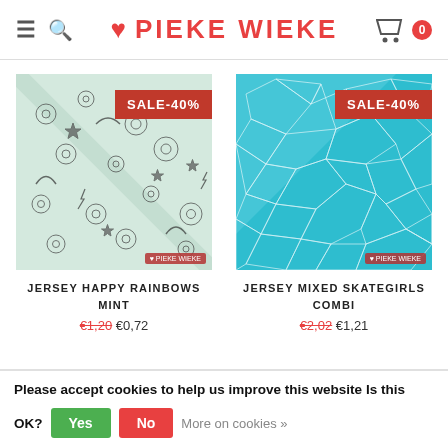♥ PIEKE WIEKE
[Figure (photo): Fabric with happy rainbows mint pattern, black on mint green background. SALE-40% badge in top right.]
JERSEY HAPPY RAINBOWS MINT
€1,20  €0,72
[Figure (photo): Fabric with mixed skategirls combi pattern, white geometric lines on turquoise/teal background. SALE-40% badge in top right.]
JERSEY MIXED SKATEGIRLS COMBI
€2,02  €1,21
Please accept cookies to help us improve this website Is this OK?  Yes  No  More on cookies »